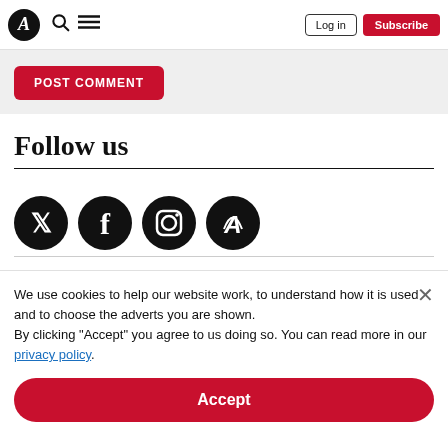A [logo] | Search | Menu | Log in | Subscribe
POST COMMENT
Follow us
[Figure (illustration): Social media icons: Twitter, Facebook, Instagram, Audioboom (branded A logo)]
We use cookies to help our website work, to understand how it is used and to choose the adverts you are shown. By clicking "Accept" you agree to us doing so. You can read more in our privacy policy.
Accept